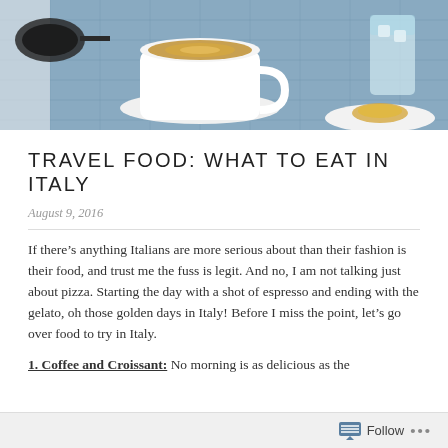[Figure (photo): Overhead/table view of a cappuccino in a white cup and saucer, sunglasses, a glass of water with ice, and what appears to be a pastry on a white plate, on a blue woven tablecloth]
TRAVEL FOOD: WHAT TO EAT IN ITALY
August 9, 2016
If there’s anything Italians are more serious about than their fashion is their food, and trust me the fuss is legit. And no, I am not talking just about pizza. Starting the day with a shot of espresso and ending with the gelato, oh those golden days in Italy! Before I miss the point, let’s go over food to try in Italy.
1. Coffee and Croissant: No morning is as delicious as the
Follow